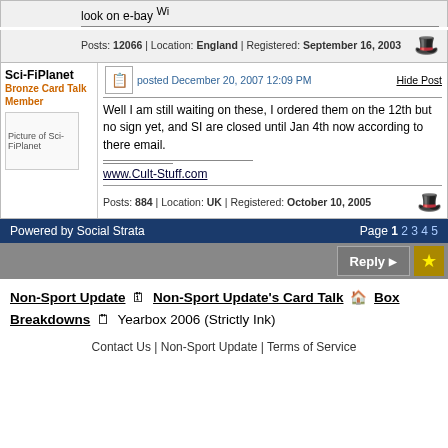look on e-bay Wi
Posts: 12066 | Location: England | Registered: September 16, 2003
posted December 20, 2007 12:09 PM
Well I am still waiting on these, I ordered them on the 12th but no sign yet, and SI are closed until Jan 4th now according to there email.
www.Cult-Stuff.com
Posts: 884 | Location: UK | Registered: October 10, 2005
Powered by Social Strata   Page 1 2 3 4 5
Non-Sport Update  Non-Sport Update's Card Talk  Box Breakdowns  Yearbox 2006 (Strictly Ink)
Contact Us | Non-Sport Update | Terms of Service